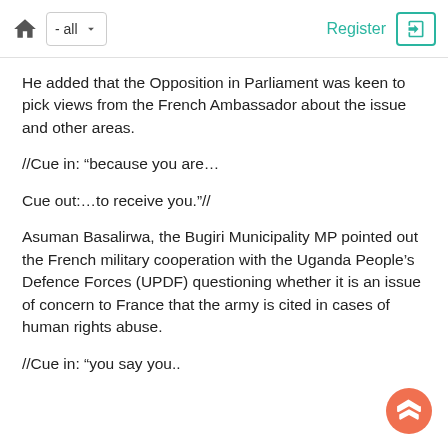- all  Register
He added that the Opposition in Parliament was keen to pick views from the French Ambassador about the issue and other areas.
//Cue in: “because you are…
Cue out:…to receive you.”//
Asuman Basalirwa, the Bugiri Municipality MP pointed out the French military cooperation with the Uganda People’s Defence Forces (UPDF) questioning whether it is an issue of concern to France that the army is cited in cases of human rights abuse.
//Cue in: “you say you..